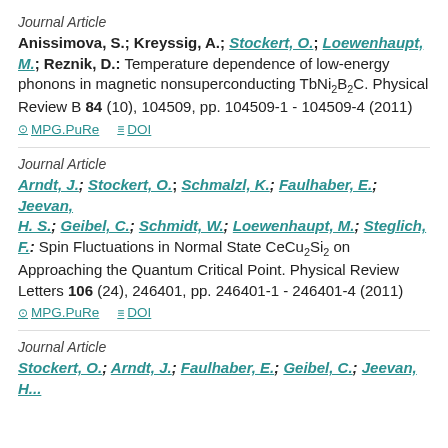Journal Article
Anissimova, S.; Kreyssig, A.; Stockert, O.; Loewenhaupt, M.; Reznik, D.: Temperature dependence of low-energy phonons in magnetic nonsuperconducting TbNi2B2C. Physical Review B 84 (10), 104509, pp. 104509-1 - 104509-4 (2011)
MPG.PuRe   DOI
Journal Article
Arndt, J.; Stockert, O.; Schmalzl, K.; Faulhaber, E.; Jeevan, H. S.; Geibel, C.; Schmidt, W.; Loewenhaupt, M.; Steglich, F.: Spin Fluctuations in Normal State CeCu2Si2 on Approaching the Quantum Critical Point. Physical Review Letters 106 (24), 246401, pp. 246401-1 - 246401-4 (2011)
MPG.PuRe   DOI
Journal Article
Stockert, O.; Arndt, J.; Faulhaber, E.; Geibel, C.; Jeevan, H...